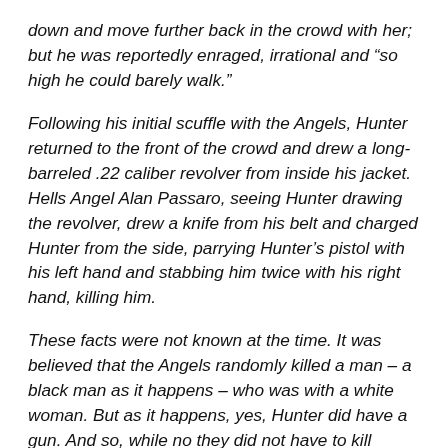down and move further back in the crowd with her; but he was reportedly enraged, irrational and “so high he could barely walk.”
Following his initial scuffle with the Angels, Hunter returned to the front of the crowd and drew a long-barreled .22 caliber revolver from inside his jacket. Hells Angel Alan Passaro, seeing Hunter drawing the revolver, drew a knife from his belt and charged Hunter from the side, parrying Hunter’s pistol with his left hand and stabbing him twice with his right hand, killing him.
These facts were not known at the time. It was believed that the Angels randomly killed a man – a black man as it happens – who was with a white woman. But as it happens, yes, Hunter did have a gun. And so, while no they did not have to kill Hunter, maybe in a weird way the